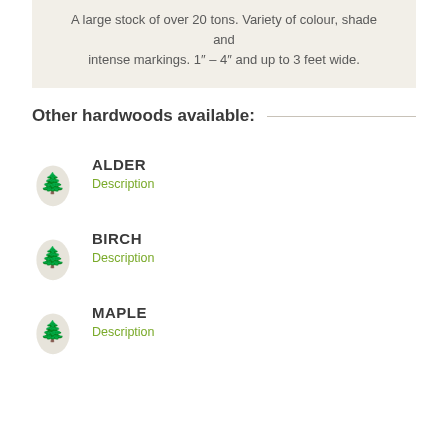A large stock of over 20 tons. Variety of colour, shade and intense markings. 1" – 4" and up to 3 feet wide.
Other hardwoods available:
ALDER
Description
BIRCH
Description
MAPLE
Description